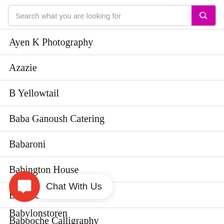Search what you are looking for
Ayen K Photography
Azazie
B Yellowtail
Baba Ganoush Catering
Babaroni
Babington House
Babooche
Babooche Calligraphy
Babylonstoren